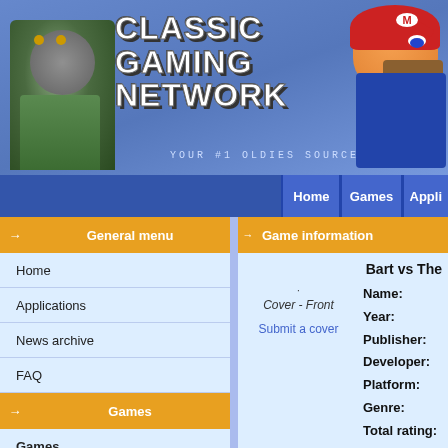[Figure (screenshot): Classic Gaming Network website banner with game character illustrations (Doom marine on left, Mario on right) and blue gradient background with the title 'CLASSIC GAMING NETWORK' and subtitle 'YOUR #1 OLDIES SOURCE']
CLASSIC GAMING NETWORK - YOUR #1 OLDIES SOURCE
Home | Games | Appli
General menu
Home
Applications
News archive
FAQ
Games
Games
Cheats
Game companies
Submit content
Community
Forum
Support
Game information
Bart vs The
Cover - Front
Submit a cover
Name:
Year:
Publisher:
Developer:
Platform:
Genre:
Total rating:

Submitter:
Added:
Warez status:
Sub